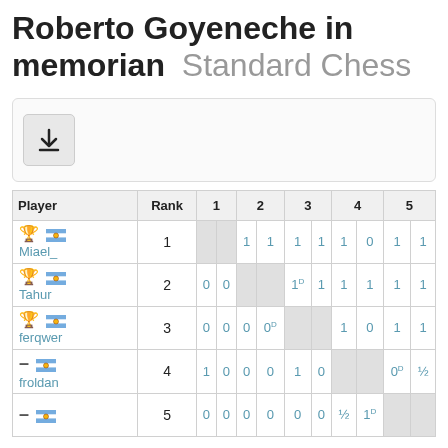Roberto Goyeneche in memorian Standard Chess
[Figure (other): Download button icon]
| Player | Rank | 1 |  | 2 |  | 3 |  | 4 |  | 5 |  |
| --- | --- | --- | --- | --- | --- | --- | --- | --- | --- | --- | --- |
| 🏆 🇦🇷 Miael_ | 1 |  |  | 1 | 1 | 1 | 1 | 1 | 0 | 1 | 1 |
| 🥈 🇦🇷 Tahur | 2 | 0 | 0 |  |  | 1D | 1 | 1 | 1 | 1 | 1 |
| 🏅 🇦🇷 ferqwer | 3 | 0 | 0 | 0 | 0D |  |  | 1 | 0 | 1 | 1 |
| — 🇦🇷 froldan | 4 | 1 | 0 | 0 | 0 | 1 | 0 |  |  | 0D | ½ |
| — 🇦🇷 | 5 | 0 | 0 | 0 | 0 | 0 | 0 | ½ | 1D |  |  |